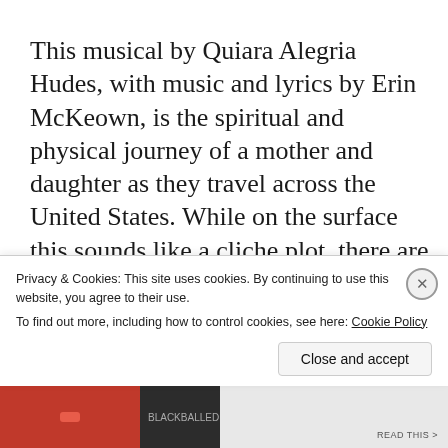This musical by Quiara Alegria Hudes, with music and lyrics by Erin McKeown, is the spiritual and physical journey of a mother and daughter as they travel across the United States. While on the surface this sounds like a cliche plot, there are a lot of story elements twisting and turning so that you are never quite sure exactly how you feel about the main characters at any time.
Beatriz (Sarah Zimmerman) says she has come to reconnect with her teenage daughter, Olivia
Privacy & Cookies: This site uses cookies. By continuing to use this website, you agree to their use.
To find out more, including how to control cookies, see here: Cookie Policy
Close and accept